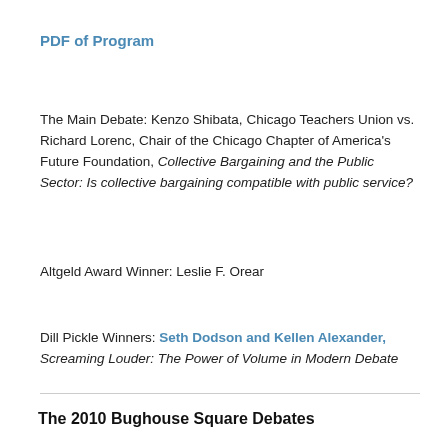PDF of Program
The Main Debate: Kenzo Shibata, Chicago Teachers Union vs. Richard Lorenc, Chair of the Chicago Chapter of America's Future Foundation, Collective Bargaining and the Public Sector: Is collective bargaining compatible with public service?
Altgeld Award Winner: Leslie F. Orear
Dill Pickle Winners: Seth Dodson and Kellen Alexander, Screaming Louder: The Power of Volume in Modern Debate
The 2010 Bughouse Square Debates